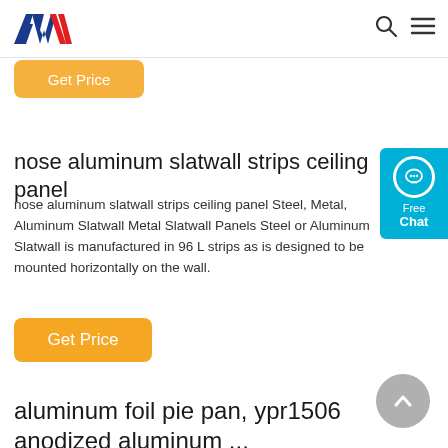AW logo, search icon, menu icon
Get Price
nose aluminum slatwall strips ceiling panel
nose aluminum slatwall strips ceiling panel Steel, Metal, Aluminum Slatwall Metal Slatwall Panels Steel or Aluminum Slatwall is manufactured in 96 L strips as is designed to be mounted horizontally on the wall.
Get Price
aluminum foil pie pan, ypr1506 anodized aluminum ...